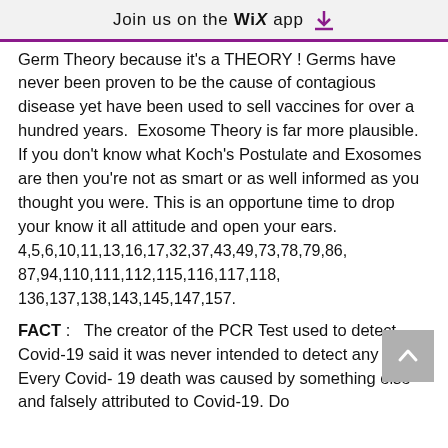Join us on the WiX app ↓
Germ Theory because it's a THEORY ! Germs have never been proven to be the cause of contagious disease yet have been used to sell vaccines for over a hundred years.  Exosome Theory is far more plausible.  If you don't know what Koch's Postulate and Exosomes are then you're not as smart or as well informed as you thought you were. This is an opportune time to drop your know it all attitude and open your ears.
4,5,6,10,11,13,16,17,32,37,43,49,73,78,79,86,87,94,110,111,112,115,116,117,118,136,137,138,143,145,147,157.
FACT :   The creator of the PCR Test used to detect Covid-19 said it was never intended to detect any virus.  Every Covid-19 death was caused by something else and falsely attributed to Covid-19. Do